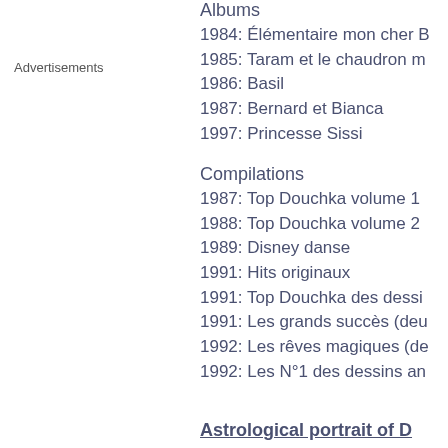Albums
1984: Élémentaire mon cher B
1985: Taram et le chaudron m
1986: Basil
1987: Bernard et Bianca
1997: Princesse Sissi
Compilations
1987: Top Douchka volume 1
1988: Top Douchka volume 2
1989: Disney danse
1991: Hits originaux
1991: Top Douchka des dessi
1991: Les grands succès (deu
1992: Les rêves magiques (de
1992: Les N°1 des dessins an
Astrological portrait of D
Disclaimer: these short excerpts o are, by no means, of a person